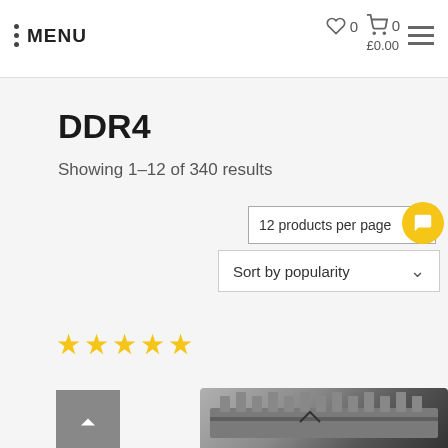MENU | ♡ 0 | 🛒 0 | £0.00
DDR4
Showing 1–12 of 340 results
12 products per page
Sort by popularity
[Figure (other): Five gold star rating icons]
[Figure (other): Grey back-to-top button with upward arrow]
[Figure (photo): Partial product image of a DDR4 RAM module with heatspreader, grey/black colour]